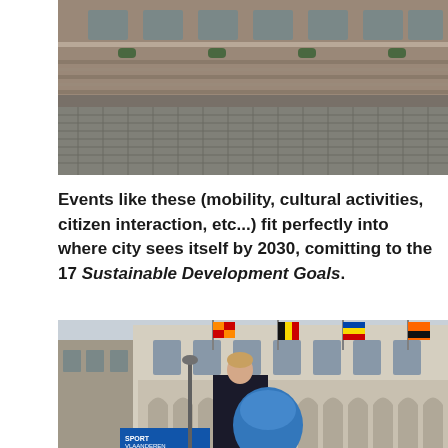[Figure (photo): Photograph of a historic brick building facade with cobblestone street in foreground, likely a Belgian city square]
Events like these (mobility, cultural activities, citizen interaction, etc...) fit perfectly into where city sees itself by 2030, comitting to the 17 Sustainable Development Goals.
[Figure (photo): Photograph of a young woman in black outfit standing in front of a Gothic building (likely Antwerp City Hall or similar) decorated with colorful flags including Belgian and Flemish flags, with a blue inflatable structure and Sport Vlaanderen banner visible]